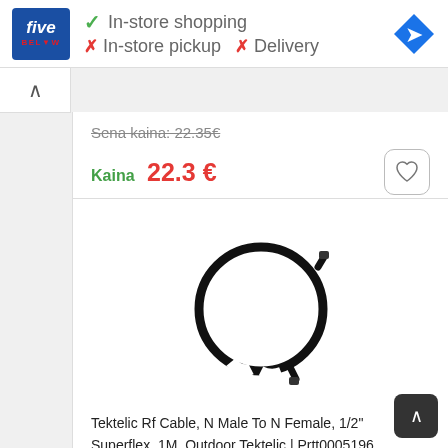[Figure (logo): Five Below store logo - blue square with 'five' in white italic and 'BELOW' in red below]
✓ In-store shopping
✗ In-store pickup  ✗ Delivery
[Figure (logo): Blue diamond navigation/directions icon]
Sena kaina: 22.35€
Kaina  22.3 €
[Figure (photo): Tektelic RF cable coiled in a circle, black cable with N-type connectors on each end]
Tektelic Rf Cable, N Male To N Female, 1/2" Superflex, 1M, Outdoor Tektelic | Prtt0005196